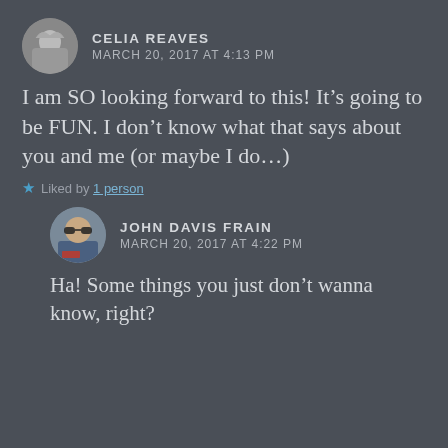CELIA REAVES
MARCH 20, 2017 AT 4:13 PM
I am SO looking forward to this! It’s going to be FUN. I don’t know what that says about you and me (or maybe I do…)
★ Liked by 1 person
JOHN DAVIS FRAIN
MARCH 20, 2017 AT 4:22 PM
Ha! Some things you just don’t wanna know, right?